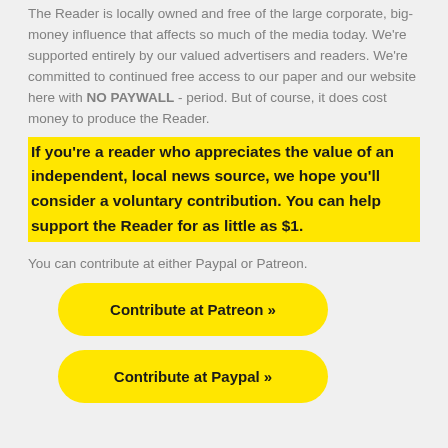The Reader is locally owned and free of the large corporate, big-money influence that affects so much of the media today. We're supported entirely by our valued advertisers and readers. We're committed to continued free access to our paper and our website here with NO PAYWALL - period. But of course, it does cost money to produce the Reader.
If you're a reader who appreciates the value of an independent, local news source, we hope you'll consider a voluntary contribution. You can help support the Reader for as little as $1.
You can contribute at either Paypal or Patreon.
[Figure (other): Yellow rounded button labeled 'Contribute at Patreon »']
[Figure (other): Yellow rounded button labeled 'Contribute at Paypal »']